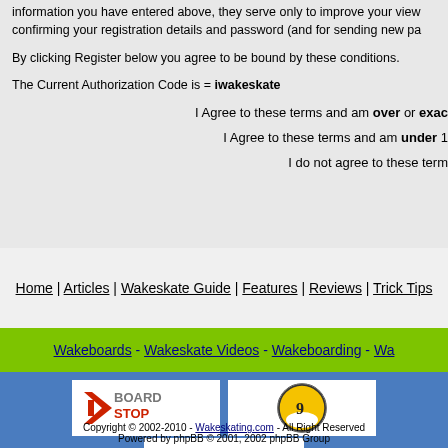information you have entered above, they serve only to improve your view confirming your registration details and password (and for sending new pa
By clicking Register below you agree to be bound by these conditions.
The Current Authorization Code is = iwakeskate
I Agree to these terms and am over or exac
I Agree to these terms and am under 1
I do not agree to these term
Home | Articles | Wakeskate Guide | Features | Reviews | Trick Tips
Wakeboards - Wakeskate Videos - Wakeboarding - Wa
[Figure (logo): BoardStop logo with red arrow and grey/red text]
[Figure (logo): Yellow billiard ball number 9 logo]
[Figure (logo): Universal Towers logo with red gradient text on white background]
Copyright © 2002-2010 - Wakeskating.com - All Right Reserved
Powered by phpBB © 2001, 2002 phpBB Group